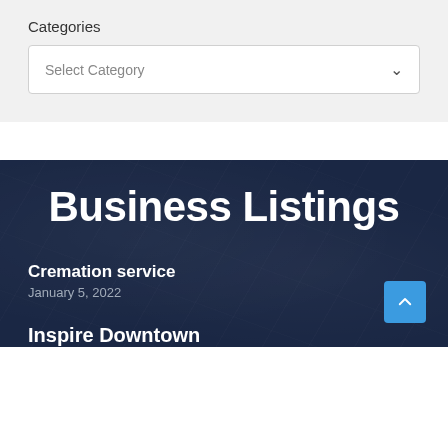Categories
Select Category
Business Listings
Cremation service
January 5, 2022
Inspire Downtown